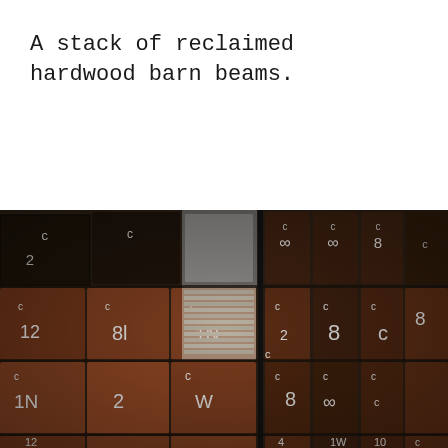A stack of reclaimed hardwood barn beams.
[Figure (photo): A photograph showing a large stack of reclaimed hardwood barn beams, dark and weathered, stacked in rows with chalk markings on the ends indicating measurements and identifiers. The beams are heavy, rectangular timber pieces stored in what appears to be a warehouse or barn storage area.]